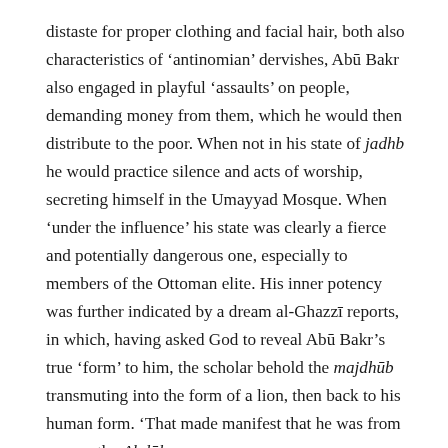distaste for proper clothing and facial hair, both also characteristics of 'antinomian' dervishes, Abū Bakr also engaged in playful 'assaults' on people, demanding money from them, which he would then distribute to the poor. When not in his state of jadhb he would practice silence and acts of worship, secreting himself in the Umayyad Mosque. When 'under the influence' his state was clearly a fierce and potentially dangerous one, especially to members of the Ottoman elite. His inner potency was further indicated by a dream al-Ghazzī reports, in which, having asked God to reveal Abū Bakr's true 'form' to him, the scholar behold the majdhūb transmuting into the form of a lion, then back to his human form. 'That made manifest that he was from among the Abdāl.